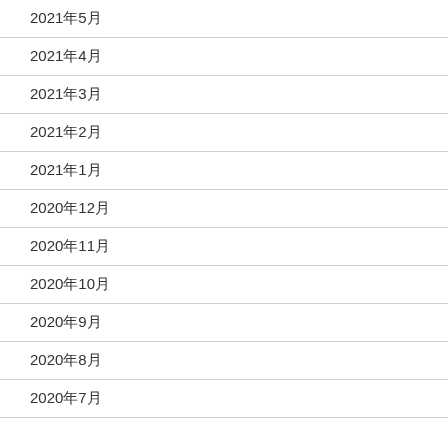2021年5月
2021年4月
2021年3月
2021年2月
2021年1月
2020年12月
2020年11月
2020年10月
2020年9月
2020年8月
2020年7月